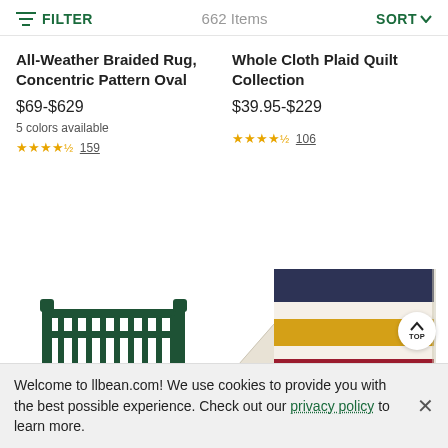FILTER   662 Items   SORT
All-Weather Braided Rug, Concentric Pattern Oval
$69-$629
5 colors available
★★★★½ 159
Whole Cloth Plaid Quilt Collection
$39.95-$229
★★★★½ 106
[Figure (photo): Green outdoor garden bench/glider]
[Figure (photo): Folded plaid quilt with navy, cream, yellow, and red stripes]
Welcome to llbean.com! We use cookies to provide you with the best possible experience. Check out our privacy policy to learn more.